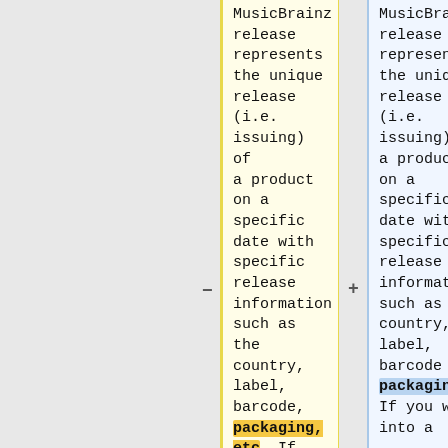MusicBrainz release represents the unique release (i.e. issuing) of a product on a specific date with specific release information such as the country, label, barcode, packaging, etc. If you walk into a
MusicBrainz release represents the unique release (i.e. issuing) of a product on a specific date with specific release information such as the country, label, barcode and packaging. If you walk into a